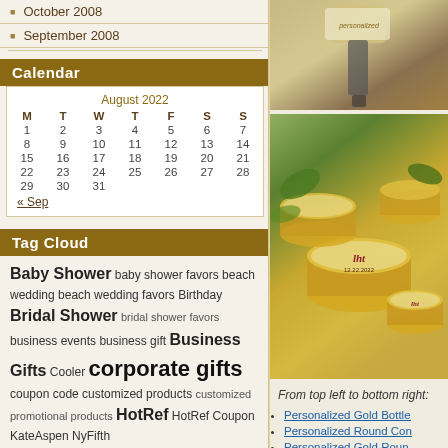October 2008
September 2008
Calendar
| M | T | W | T | F | S | S |
| --- | --- | --- | --- | --- | --- | --- |
| 1 | 2 | 3 | 4 | 5 | 6 | 7 |
| 8 | 9 | 10 | 11 | 12 | 13 | 14 |
| 15 | 16 | 17 | 18 | 19 | 20 | 21 |
| 22 | 23 | 24 | 25 | 26 | 27 | 28 |
| 29 | 30 | 31 |  |  |  |  |
« Sep
Tag Cloud
Baby Shower baby shower favors beach wedding beach wedding favors Birthday Bridal Shower bridal shower favors business events business gift Business Gifts Cooler corporate gifts coupon code customized products customized promotional products HotRef HotRef Coupon KateAspen NyFifth party favors personalized favors
[Figure (photo): Top image showing personalized gold bottle stopper on fabric background]
[Figure (photo): Bottom image showing personalized round gold tin candles with custom labels and green leaves]
From top left to bottom right:
Personalized Gold Bottle
Personalized Round Con
Personalized Gold Roun
Personalized White Matc